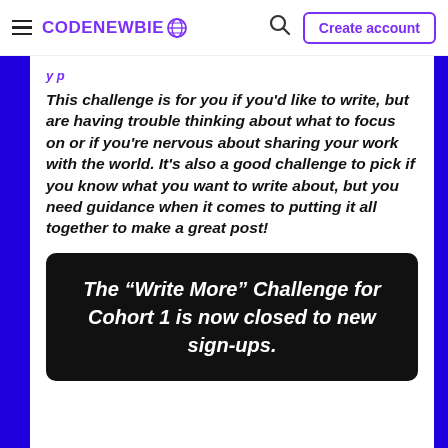CodeNewbie — Create account
This challenge is for you if you'd like to write, but are having trouble thinking about what to focus on or if you're nervous about sharing your work with the world. It's also a good challenge to pick if you know what you want to write about, but you need guidance when it comes to putting it all together to make a great post!
The “Write More” Challenge for Cohort 1 is now closed to new sign-ups.